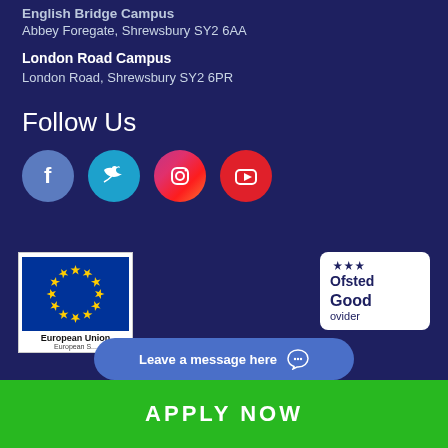English Bridge Campus
Abbey Foregate, Shrewsbury SY2 6AA
London Road Campus
London Road, Shrewsbury SY2 6PR
Follow Us
[Figure (infographic): Four social media icons in circles: Facebook (blue), Twitter (light blue), Instagram (pink/purple gradient), YouTube (red)]
[Figure (logo): European Union logo with circle of gold stars on blue background, text 'European Union' below]
[Figure (logo): Ofsted logo with stars above text 'Ofsted Good Provider']
Leave a message here
APPLY NOW
Check your application